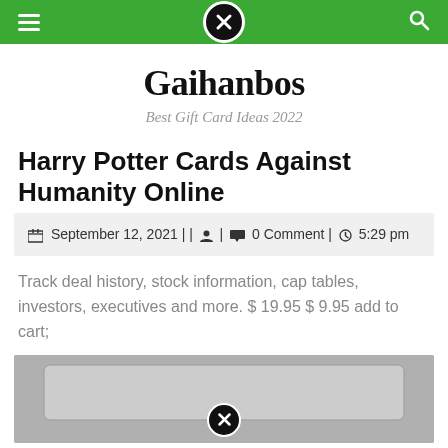Navigation bar with hamburger menu, close button, and search icon on green background
Gaihanbos
Best Gift Card Ideas 2022
Harry Potter Cards Against Humanity Online
September 12, 2021 | | 🧑 | 💬 0 Comment | 🕐 5:29 pm
Track deal history, stock information, cap tables, investors, executives and more. $ 19.95 $ 9.95 add to cart;
[Figure (photo): Partial view of a card or card-like object in grayscale, with a close/X button overlay at bottom center]